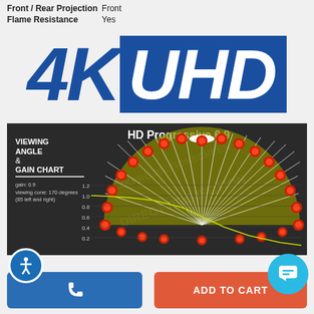| Front / Rear Projection | Front |
| Flame Resistance | Yes |
[Figure (logo): 4K UHD logo with large blue italic '4K' text and 'UHD' in white on a blue rectangle background]
[Figure (other): Viewing Angle & Gain Chart for HD Progressive 0.9 screen. Shows a semicircular fan diagram with red dots at angle markers and a gain curve graph below showing gain values from 0.2 to 1.2 over viewing angles. Text: 'VIEWING ANGLE & GAIN CHART', 'HD Progressive 0.9', 'gain: 0.9', 'viewing cone: 170 degrees (85 left and right)']
[Figure (other): Blue phone call button at bottom left]
[Figure (other): Orange/red 'ADD TO CART' button at bottom right]